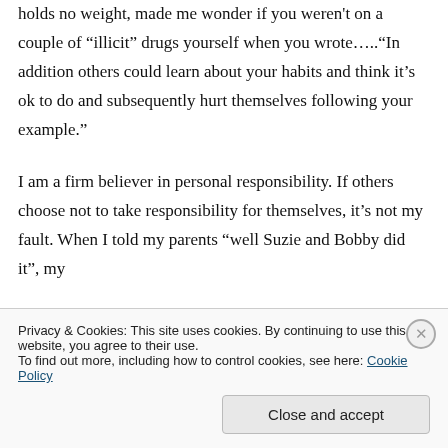And speaking of illicit drugs, your argument holds no weight, made me wonder if you weren't on a couple of “illicit” drugs yourself when you wrote…..“In addition others could learn about your habits and think it’s ok to do and subsequently hurt themselves following your example.”
I am a firm believer in personal responsibility. If others choose not to take responsibility for themselves, it’s not my fault. When I told my parents “well Suzie and Bobby did it”, my
Privacy & Cookies: This site uses cookies. By continuing to use this website, you agree to their use.
To find out more, including how to control cookies, see here: Cookie Policy
Close and accept